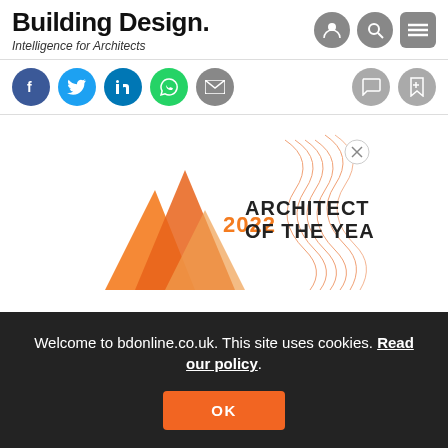Building Design. Intelligence for Architects
[Figure (screenshot): Social media sharing icons: Facebook (blue), Twitter (light blue), LinkedIn (blue), WhatsApp (green), Email (grey), and on the right side comment and bookmark icons (grey)]
[Figure (photo): Architect of the Year 2022 advertisement banner with orange geometric shapes and text reading '2022 ARCHITECT OF THE YEAR']
Welcome to bdonline.co.uk. This site uses cookies. Read our policy.
OK